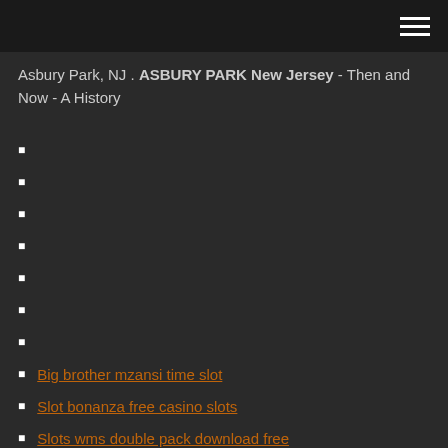≡
Asbury Park, NJ . ASBURY PARK New Jersey - Then and Now - A History
Big brother mzansi time slot
Slot bonanza free casino slots
Slots wms double pack download free
How far from casino to kyogle
Casino forges les eaux recrutement